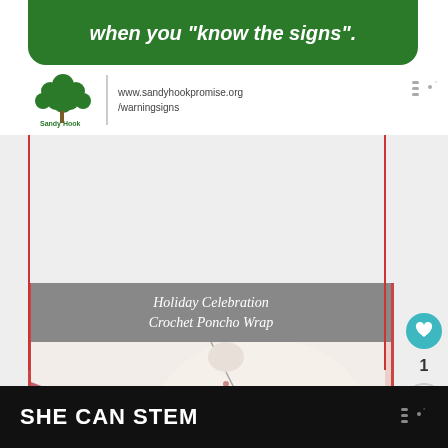[Figure (screenshot): Sandy Hook Promise advertisement with green banner showing 'when you know the signs.' and logo with website www.sandyhookpromise.org/warningsigns]
[Figure (screenshot): Pinterest-style card showing 'Holiday Celebration Crochet Poncho Wrap' with photo of a mannequin wearing a cream and rose/pink crochet poncho wrap with a long necklace. Social icons: heart (1 like), share button. 'What's Next' panel showing 'Crochet Whimsical...']
SHE CAN STEM
[Figure (screenshot): SHE CAN STEM advertisement banner on dark background]